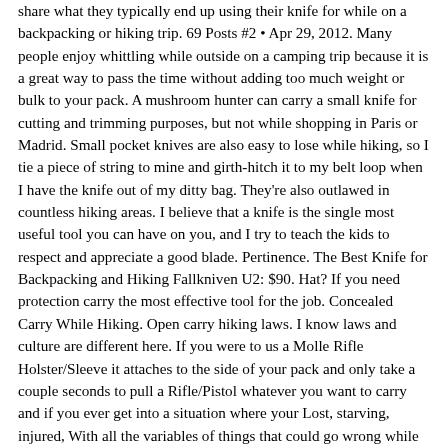share what they typically end up using their knife for while on a backpacking or hiking trip. 69 Posts #2 • Apr 29, 2012. Many people enjoy whittling while outside on a camping trip because it is a great way to pass the time without adding too much weight or bulk to your pack. A mushroom hunter can carry a small knife for cutting and trimming purposes, but not while shopping in Paris or Madrid. Small pocket knives are also easy to lose while hiking, so I tie a piece of string to mine and girth-hitch it to my belt loop when I have the knife out of my ditty bag. They're also outlawed in countless hiking areas. I believe that a knife is the single most useful tool you can have on you, and I try to teach the kids to respect and appreciate a good blade. Pertinence. The Best Knife for Backpacking and Hiking Fallkniven U2: $90. Hat? If you need protection carry the most effective tool for the job. Concealed Carry While Hiking. Open carry hiking laws. I know laws and culture are different here. If you were to us a Molle Rifle Holster/Sleeve it attaches to the side of your pack and only take a couple seconds to pull a Rifle/Pistol whatever you want to carry and if you ever get into a situation where your Lost, starving, injured, With all the variables of things that could go wrong while thru-hiking 1-5 months on the AT PCT PNT Ect. I will be living out of a backpack and spending most of my time on trails in Southern Germany. 4,434. Nevertheless, there is always the risk that the people and wildlife you encounter won't be so friendly. 2. I know a lot of people, including myself, who carry a